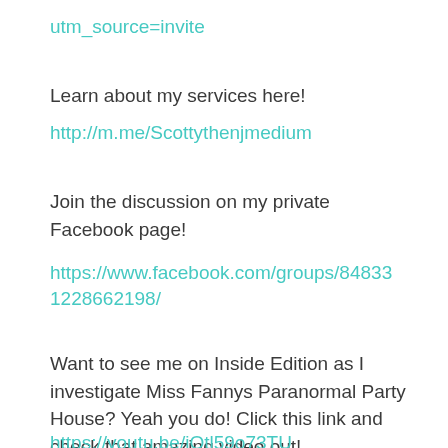utm_source=invite
Learn about my services here!
http://m.me/Scottythenjmedium
Join the discussion on my private Facebook page!
https://www.facebook.com/groups/848331228662198/
Want to see me on Inside Edition as I investigate Miss Fannys Paranormal Party House? Yeah you do! Click this link and check that amazing video out!
https://youtu.be/iQtl59o73TU